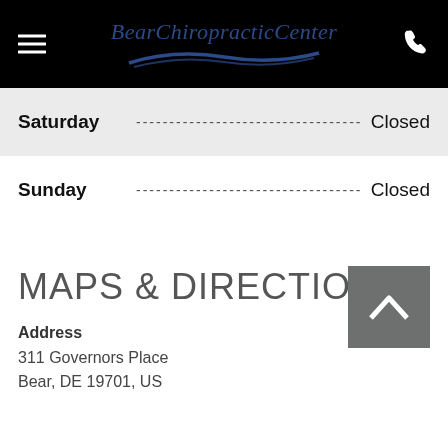BearChiropracticCenter
Saturday  Closed
Sunday  Closed
MAPS & DIRECTIONS
Address
311 Governors Place
Bear, DE 19701, US